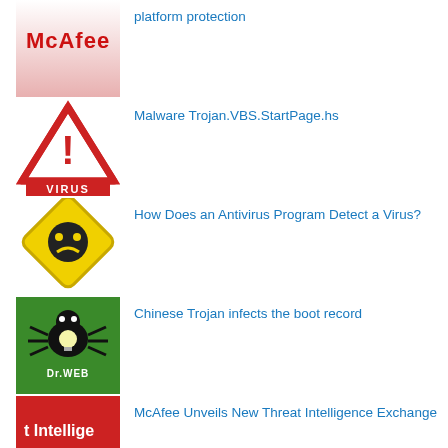[Figure (logo): McAfee logo — red text on white/pink gradient background]
platform protection
[Figure (illustration): Red triangle warning sign with exclamation mark and 'VIRUS' text below]
Malware Trojan.VBS.StartPage.hs
[Figure (illustration): Yellow diamond warning sign with virus/bug face icon]
How Does an Antivirus Program Detect a Virus?
[Figure (logo): Dr.WEB logo — green background with black spider/bug mascot]
Chinese Trojan infects the boot record
[Figure (illustration): Red background with text 't Intellige' and 't prevention in a' — McAfee Threat Intelligence Exchange thumbnail]
McAfee Unveils New Threat Intelligence Exchange